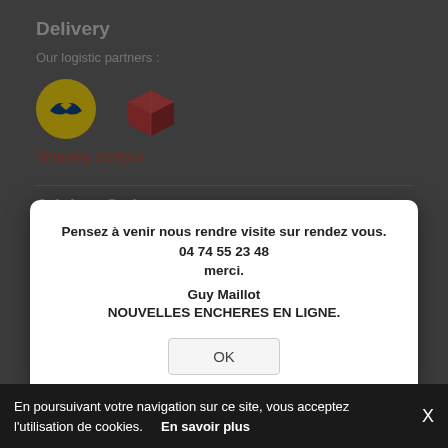Delivery
Our logistic partners :
[Figure (logo): La Poste yellow circular logo and a red 3D box parcel logo]
Shipping charges
Advice, Orders
04 74 55 23 48
Domaine Maillot, rue Bois Fréry
Le Bois Fréry
01090 RELEVANT - FRANCE
on appointment
[Figure (screenshot): Modal dialog popup with message in French and OK button]
Pensez à venir nous rendre visite sur rendez vous. 04 74 55 23 48 merci.
Guy Maillot
NOUVELLES ENCHERES EN LIGNE.
My account
My cart
Newsletter
RSS subscription
En poursuivant votre navigation sur ce site, vous acceptez l'utilisation de cookies.    En savoir plus